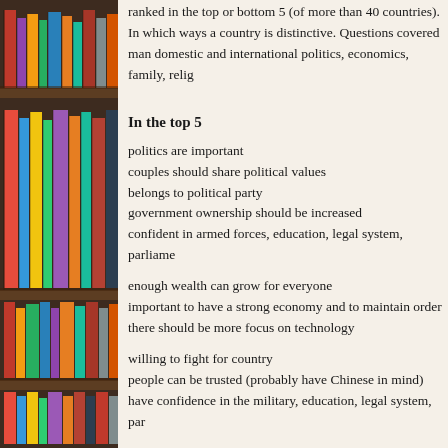ranked in the top or bottom 5 (of more than 40 countries). In which ways a country is distinctive. Questions covered many domestic and international politics, economics, family, religion...
In the top 5
politics are important
couples should share political values
belongs to political party
government ownership should be increased
confident in armed forces, education, legal system, parliament...
enough wealth can grow for everyone
important to have a strong economy and to maintain order
there should be more focus on technology
willing to fight for country
people can be trusted (probably have Chinese in mind)
have confidence in the military, education, legal system, par...